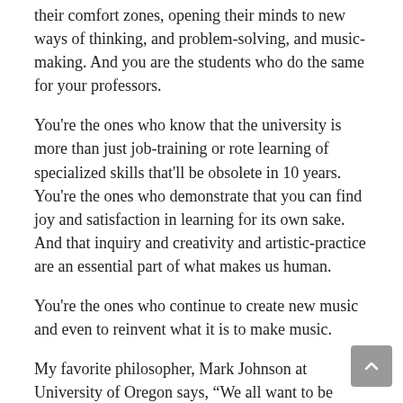You're the ones gently shepherding your students out of their comfort zones, opening their minds to new ways of thinking, and problem-solving, and music-making. And you are the students who do the same for your professors.
You're the ones who know that the university is more than just job-training or rote learning of specialized skills that'll be obsolete in 10 years. You're the ones who demonstrate that you can find joy and satisfaction in learning for its own sake. And that inquiry and creativity and artistic-practice are an essential part of what makes us human.
You're the ones who continue to create new music and even to reinvent what it is to make music.
My favorite philosopher, Mark Johnson at University of Oregon says, “We all want to be entertained, but more than that, we are looking for meaning in art.” Sound and music have the capacity to pierce directly and deeply